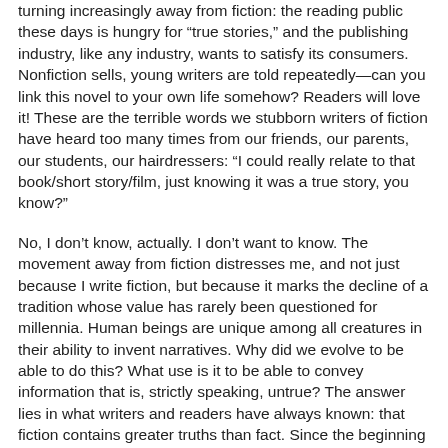turning increasingly away from fiction: the reading public these days is hungry for “true stories,” and the publishing industry, like any industry, wants to satisfy its consumers. Nonfiction sells, young writers are told repeatedly—can you link this novel to your own life somehow? Readers will love it! These are the terrible words we stubborn writers of fiction have heard too many times from our friends, our parents, our students, our hairdressers: “I could really relate to that book/short story/film, just knowing it was a true story, you know?”
No, I don’t know, actually. I don’t want to know. The movement away from fiction distresses me, and not just because I write fiction, but because it marks the decline of a tradition whose value has rarely been questioned for millennia. Human beings are unique among all creatures in their ability to invent narratives. Why did we evolve to be able to do this? What use is it to be able to convey information that is, strictly speaking, untrue? The answer lies in what writers and readers have always known: that fiction contains greater truths than fact. Since the beginning of recorded history we have made sense of our world with